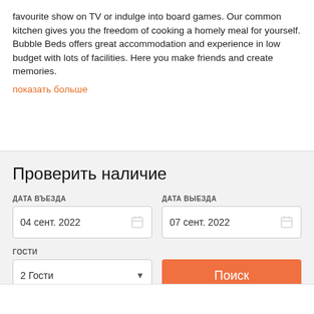favourite show on TV or indulge into board games. Our common kitchen gives you the freedom of cooking a homely meal for yourself. Bubble Beds offers great accommodation and experience in low budget with lots of facilities. Here you make friends and create memories.
показать больше
Проверить наличие
ДАТА ВЪЕЗДА
04 сент. 2022
ДАТА ВЫЕЗДА
07 сент. 2022
ГОСТИ
2 Гости
Поиск